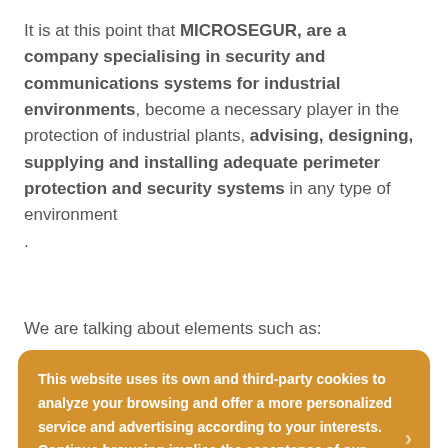It is at this point that MICROSEGUR, are a company specialising in security and communications systems for industrial environments, become a necessary player in the protection of industrial plants, advising, designing, supplying and installing adequate perimeter protection and security systems in any type of environment.
We are talking about elements such as:
This website uses its own and third-party cookies to analyze your browsing and offer a more personalized service and advertising according to your interests. Continue browsing implies the acceptance of our Cookies Policy. +info
Doors, barriers and bollards
CCTV monitoring systems